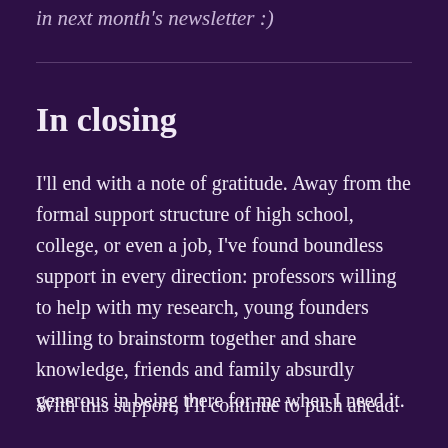in next month's newsletter :)
In closing
I'll end with a note of gratitude. Away from the formal support structure of high school, college, or even a job, I've found boundless support in every direction: professors willing to help with my research, young founders willing to brainstorm together and share knowledge, friends and family absurdly generous in being there for me when I need it.
With this support, I'll continue to push ahead.